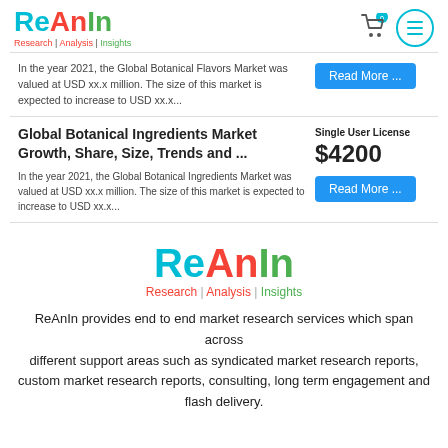ReAnIn - Research | Analysis | Insights
In the year 2021, the Global Botanical Flavors Market was valued at USD xx.x million. The size of this market is expected to increase to USD xx.x...
Global Botanical Ingredients Market Growth, Share, Size, Trends and...
Single User License $4200
In the year 2021, the Global Botanical Ingredients Market was valued at USD xx.x million. The size of this market is expected to increase to USD xx.x...
[Figure (logo): ReAnIn logo - Research | Analysis | Insights centered]
ReAnIn provides end to end market research services which span across different support areas such as syndicated market research reports, custom market research reports, consulting, long term engagement and flash delivery.